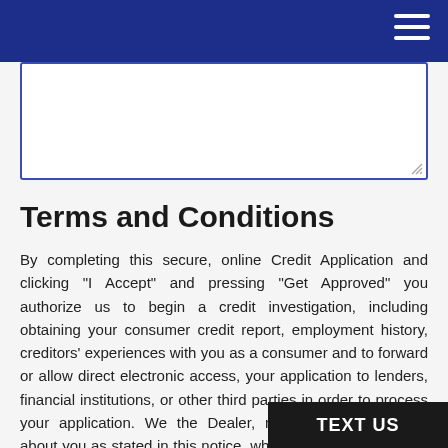[Figure (other): Text input textarea box with blue border]
Terms and Conditions
By completing this secure, online Credit Application and clicking "I Accept" and pressing "Get Approved" you authorize us to begin a credit investigation, including obtaining your consumer credit report, employment history, creditors' experiences with you as a consumer and to forward or allow direct electronic access, your application to lenders, financial institutions, or other third parties in order to process your application. We the Dealer, may obtain information about you as stated in this notice, which we handle as stated in this privacy